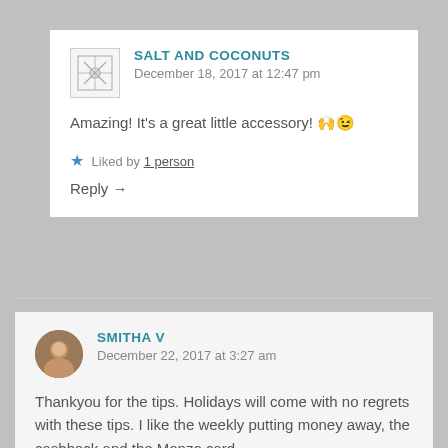SALT AND COCONUTS
December 18, 2017 at 12:47 pm
Amazing! It's a great little accessory! 🙌😉
★ Liked by 1 person
Reply →
SMITHA V
December 22, 2017 at 3:27 am
Thankyou for the tips. Holidays will come with no regrets with these tips. I like the weekly putting money away, the cashback and the Monzo card.